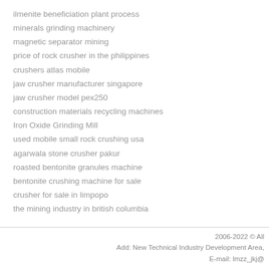ilmenite beneficiation plant process
minerals grinding machinery
magnetic separator mining
price of rock crusher in the philippines
crushers atlas mobile
jaw crusher manufacturer singapore
jaw crusher model pex250
construction materials recycling machines
Iron Oxide Grinding Mill
used mobile small rock crushing usa
agarwala stone crusher pakur
roasted bentonite granules machine
bentonite crushing machine for sale
crusher for sale in limpopo
the mining industry in british columbia
2006-2022 © All
Add: New Technical Industry Development Area,
E-mail: lmzz_jkj@